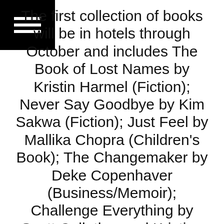[Figure (other): Hamburger menu icon — three white horizontal bars on black background, top-left corner]
The first collection of books will be in hotels through October and includes The Book of Lost Names by Kristin Harmel (Fiction); Never Say Goodbye by Kim Sakwa (Fiction); Just Feel by Mallika Chopra (Children's Book); The Changemaker by Deke Copenhaver (Business/Memoir); Challenge Everything by Scott Cullather and Kristina McCoobery (Business/Events); LiveTrue by Ora Nadrich (Wellness); Never Sit If You Can Dance by Jo Giese (Memoir); Fille Perdue by Charles